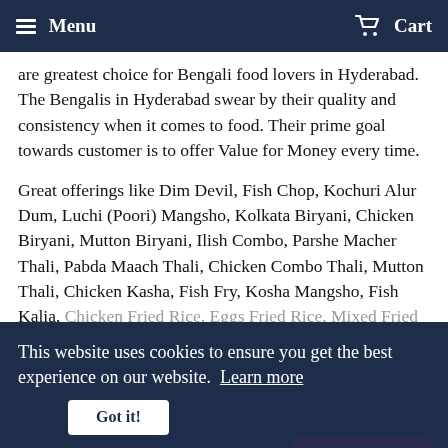Menu   Cart
are greatest choice for Bengali food lovers in Hyderabad. The Bengalis in Hyderabad swear by their quality and consistency when it comes to food. Their prime goal towards customer is to offer Value for Money every time.
Great offerings like Dim Devil, Fish Chop, Kochuri Alur Dum, Luchi (Poori) Mangsho, Kolkata Biryani, Chicken Biryani, Mutton Biryani, Ilish Combo, Parshe Macher Thali, Pabda Maach Thali, Chicken Combo Thali, Mutton Thali, Chicken Kasha, Fish Fry, Kosha Mangsho, Fish Kalia, Chicken Fried Rice, Eggs Fried Rice, Mixed Fried Rice, Chilli Chicken Chilli Paneer, Vegetable Fried Rice, Chicken Hakka Chowmein, Vegetable Hakka Chowmein, Basanti Pulao, Egg Hakka Chowmein, Mixed Hakka Chowmein, Chicken Manchurian, Paneer Manchurian, Dimer Devil, Fish Chop, Bhog Khichuri, Fish, Labra, etc. are available at an affordable price, doorstep delivered every day. They believe in Good Food Everyday.
This website uses cookies to ensure you get the best experience on our website. Learn more
Got it!